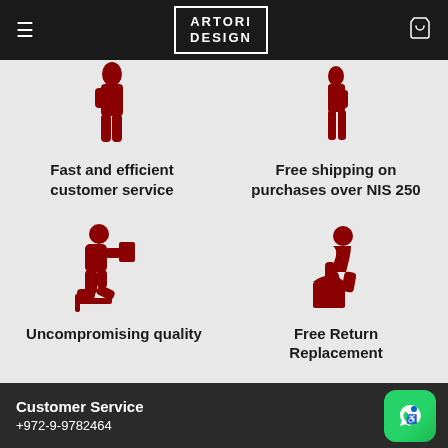ARTORI DESIGN
[Figure (illustration): Red silhouette of a person standing, partially cropped at top]
Fast and efficient customer service
[Figure (illustration): Red silhouette of a person (partially cropped at top right)]
Free shipping on purchases over NIS 250
[Figure (illustration): Red silhouette of a person sitting in a chair reading]
Uncompromising quality
[Figure (illustration): Red silhouette of a person crouching over an open box]
Free Return Replacement
Customer Service +972-9-9782464